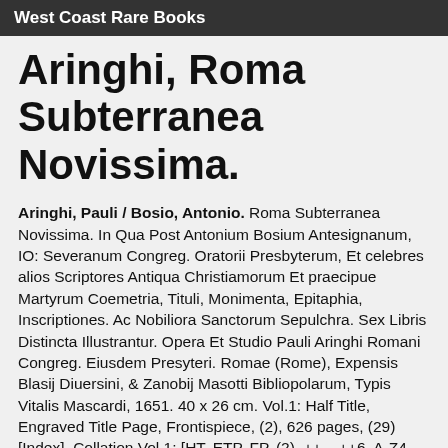West Coast Rare Books
Aringhi, Roma Subterranea Novissima.
Aringhi, Pauli / Bosio, Antonio. Roma Subterranea Novissima. In Qua Post Antonium Bosium Antesignanum, IO: Severanum Congreg. Oratorii Presbyterum, Et celebres alios Scriptores Antiqua Christiamorum Et praecipue Martyrum Coemetria, Tituli, Monimenta, Epitaphia, Inscriptiones. Ac Nobiliora Sanctorum Sepulchra. Sex Libris Distincta Illustrantur. Opera Et Studio Pauli Aringhi Romani Congreg. Eiusdem Presyteri. Romae (Rome), Expensis Blasij Diuersini, & Zanobij Masotti Bibliopolarum, Typis Vitalis Mascardi, 1651. 40 x 26 cm. Vol.1: Half Title, Engraved Title Page, Frontispiece, (2), 626 pages, (29) [Index]. Collation Vol.1: [HT, ETP, FP, (2), ++ – ++6, A-Z4, Aa-Zz4, Aaa-Zzz4, Aaaa-Nnnn4], With a folding Map of Rome, 92